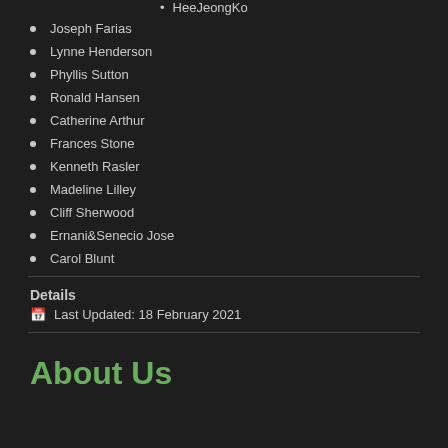HeeJeongKo
Joseph Farias
Lynne Henderson
Phyllis Sutton
Ronald Hansen
Catherine Arthur
Frances Stone
Kenneth Rasler
Madeline Lilley
Cliff Sherwood
Ernani&Senecio Jose
Carol Blunt
Details
Last Updated: 18 February 2021
About Us